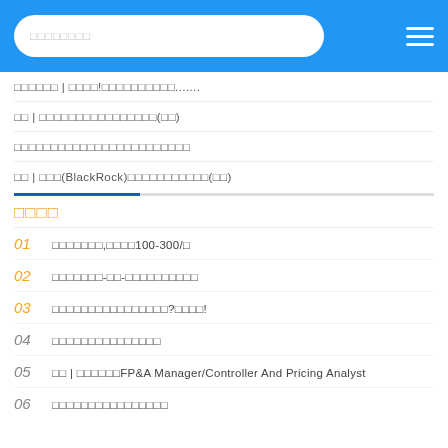search placeholder | hamburger menu
□□□□□□ | □□□□!□□□□□□□□□□.......
□□ | □□□□□□□□□□□□□□□□(□□)
□□□□□□□□□□□□□□□□□□□□□□□□
□□ | □□□(BlackRock)□□□□□□□□□□□(□□)
□□□□
01 □□□□□□□,□□□□100-300/□
02 □□□□□□□-□□-□□□□□□□□□□
03 □□□□□□□□□□□□□□□□?□□□□!
04 □□□□□□□□□□□□□□□
05 □□ | □□□□□□FP&A Manager/Controller And Pricing Analyst
06 □□□□□□□□□□□□□□□□